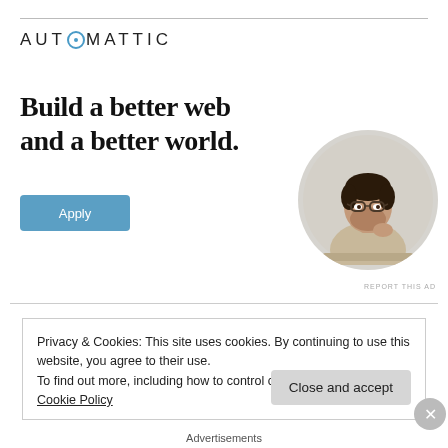[Figure (logo): Automattic logo with stylized O containing a circle/dot]
Build a better web and a better world.
[Figure (illustration): Circular portrait photo of a man wearing glasses and a beige shirt, sitting at a desk and looking up thoughtfully with hand on chin]
REPORT THIS AD
Privacy & Cookies: This site uses cookies. By continuing to use this website, you agree to their use.
To find out more, including how to control cookies, see here: Cookie Policy
Close and accept
Advertisements